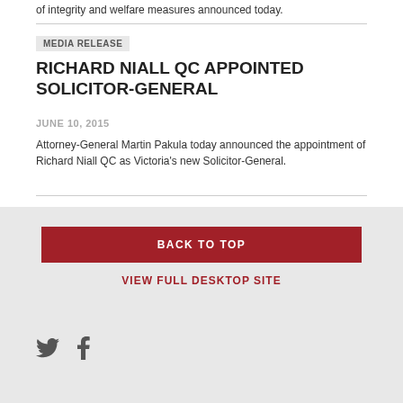of integrity and welfare measures announced today.
MEDIA RELEASE
RICHARD NIALL QC APPOINTED SOLICITOR-GENERAL
JUNE 10, 2015
Attorney-General Martin Pakula today announced the appointment of Richard Niall QC as Victoria's new Solicitor-General.
BACK TO TOP
VIEW FULL DESKTOP SITE